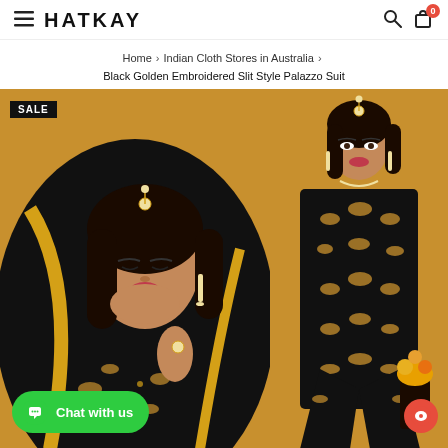HATKAY — navigation header with hamburger menu, logo, search icon, cart (0)
Home › Indian Cloth Stores in Australia › Black Golden Embroidered Slit Style Palazzo Suit
[Figure (photo): Woman wearing black and gold embroidered dupatta/suit with jewellery, on golden background, with SALE badge and Chat with us button]
[Figure (photo): Woman wearing black and gold embroidered palazzo suit, full view, on golden background with flowers]